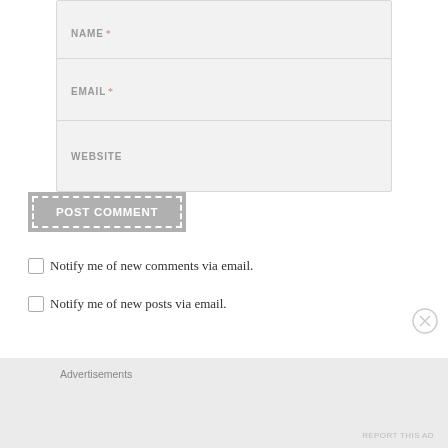NAME *
EMAIL *
WEBSITE
POST COMMENT
Notify me of new comments via email.
Notify me of new posts via email.
Advertisements
REPORT THIS AD